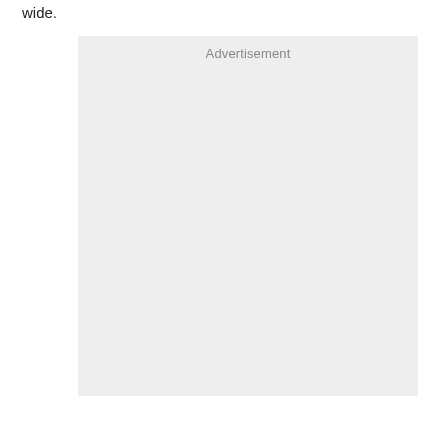wide.
[Figure (other): Advertisement placeholder box with light gray background and 'Advertisement' label at top]
[Figure (other): Bottom banner/overlay area with blue border line, close button (X in circle), and white content area below]